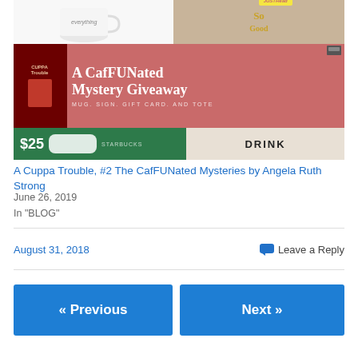[Figure (illustration): Giveaway promotional banner image showing a white mug with 'everything' text, a gold 'Good God' sign, a JustRead badge, a pink banner reading 'A CafFUNated Mystery Giveaway' with 'MUG. SIGN. GIFT CARD. AND TOTE' subtitle, a book cover for 'Cuppa Trouble', a $25 Starbucks gift card, and a white tote bag with 'DRINK' text.]
A Cuppa Trouble, #2 The CafFUNated Mysteries by Angela Ruth Strong
June 26, 2019
In "BLOG"
August 31, 2018
Leave a Reply
« Previous
Next »